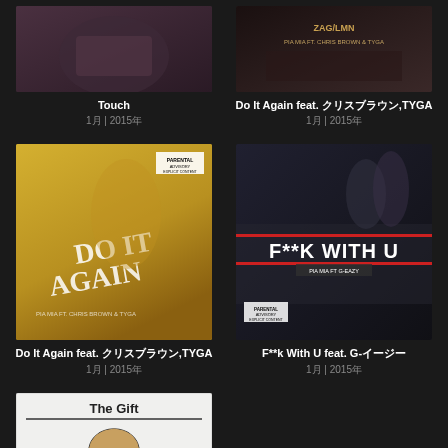[Figure (photo): Album art for Touch - dark/muted tones]
Touch
1月 | 2015年
[Figure (photo): Album art for Do It Again feat. Chris Brown, TYGA - Pia Mia text visible]
Do It Again feat. クリスブラウン,TYGA
1月 | 2015年
[Figure (photo): Album art for Do It Again - blonde woman close-up]
Do It Again feat. クリスブラウン,TYGA
1月 | 2015年
[Figure (photo): Album art for F**k With U feat. G-Eazy - couple by car]
F**k With U feat. G-イージー
1月 | 2015年
[Figure (photo): Album art for The Gift - illustrated girl]
The Gift